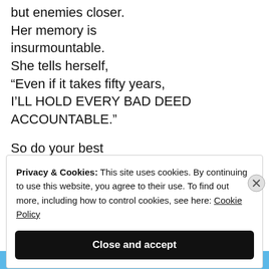but enemies closer.
Her memory is insurmountable.
She tells herself,
“Even if it takes fifty years,
I’LL HOLD EVERY BAD DEED ACCOUNTABLE.”

So do your best
to be good in this life,
Privacy & Cookies: This site uses cookies. By continuing to use this website, you agree to their use. To find out more, including how to control cookies, see here: Cookie Policy
Close and accept